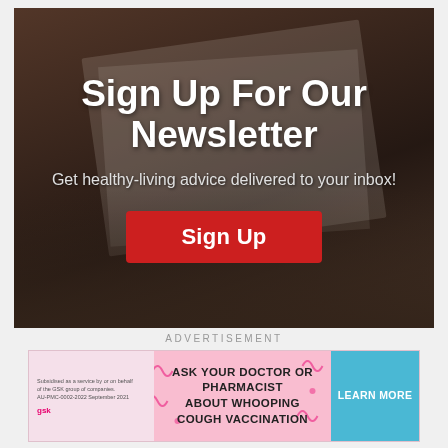[Figure (infographic): Newsletter signup banner with dark magazine background overlay. Contains title 'Sign Up For Our Newsletter', subtitle 'Get healthy-living advice delivered to your inbox!', and a red 'Sign Up' button.]
Sign Up For Our Newsletter
Get healthy-living advice delivered to your inbox!
Sign Up
ADVERTISEMENT
[Figure (infographic): Advertisement banner with pink background. Left section has small disclaimer text and a logo. Center says 'ASK YOUR DOCTOR OR PHARMACIST ABOUT WHOOPING COUGH VACCINATION'. Right section is a blue button saying 'LEARN MORE'.]